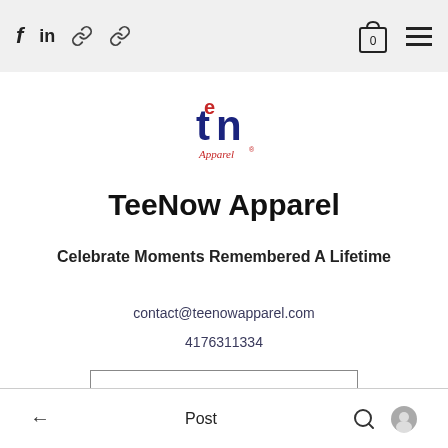f  in  🔗  🔗  [bag 0]  ≡
[Figure (logo): TeeNow Apparel logo with red 'tn' letters and script 'Apparel' text below]
TeeNow Apparel
Celebrate Moments Remembered A Lifetime
contact@teenowapparel.com
4176311334
Get In Touch
← Post 🔍 👤